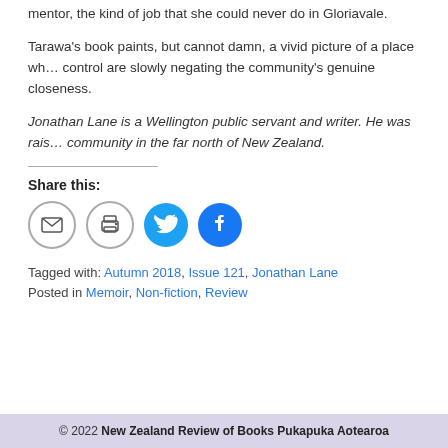mentor, the kind of job that she could never do in Gloriavale.
Tarawa's book paints, but cannot damn, a vivid picture of a place wh… control are slowly negating the community's genuine closeness.
Jonathan Lane is a Wellington public servant and writer. He was rais… community in the far north of New Zealand.
Share this:
[Figure (other): Social share icons: email, print, Twitter, Facebook]
Tagged with: Autumn 2018, Issue 121, Jonathan Lane
Posted in Memoir, Non-fiction, Review
© 2022 New Zealand Review of Books Pukapuka Aotearoa